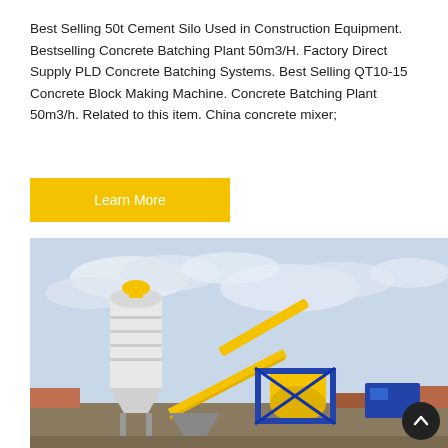Best Selling 50t Cement Silo Used in Construction Equipment. Bestselling Concrete Batching Plant 50m3/H. Factory Direct Supply PLD Concrete Batching Systems. Best Selling QT10-15 Concrete Block Making Machine. Concrete Batching Plant 50m3/h. Related to this item. China concrete mixer;
[Figure (other): Yellow button labeled 'Learn More' on a yellow/gold background]
[Figure (photo): Outdoor photo of a concrete batching plant with a large white cement silo on the left, a yellow conveyor belt in the center, a yellow mixer drum, blue structural framework, and industrial equipment under a cloudy sky]